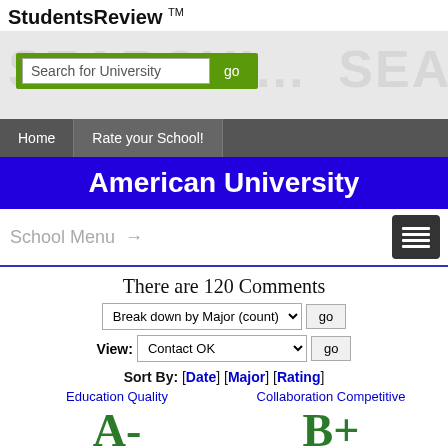StudentsReview TM
[Figure (screenshot): Search banner with watermark text SEARCHING SEARCH and a search input box with 'Search for University' placeholder and a go button on green background]
Home | Rate your School!
American University
School Menu →
There are 120 Comments
Break down by Major (count) go
View: Contact OK go
Sort By: [Date] [Major] [Rating]
Education Quality
Collaboration Competitive
A-
B+
Positive Negative